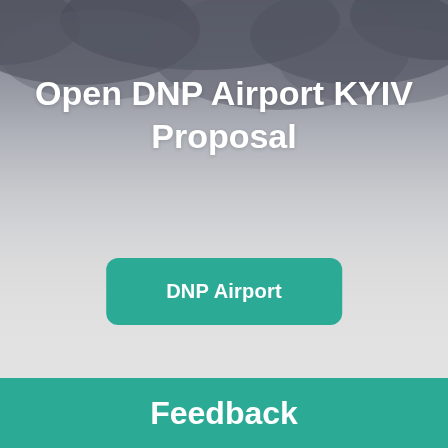[Figure (photo): Blurred aerial/sky background photograph with dark cloudy sky at top fading to light grey at bottom]
Open DNP Airport KYIV Proposal
DNP Airport
Feedback